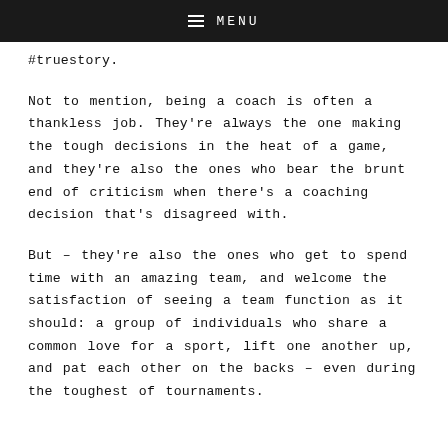MENU
#truestory.
Not to mention, being a coach is often a thankless job. They're always the one making the tough decisions in the heat of a game, and they're also the ones who bear the brunt end of criticism when there's a coaching decision that's disagreed with.
But – they're also the ones who get to spend time with an amazing team, and welcome the satisfaction of seeing a team function as it should: a group of individuals who share a common love for a sport, lift one another up, and pat each other on the backs – even during the toughest of tournaments.